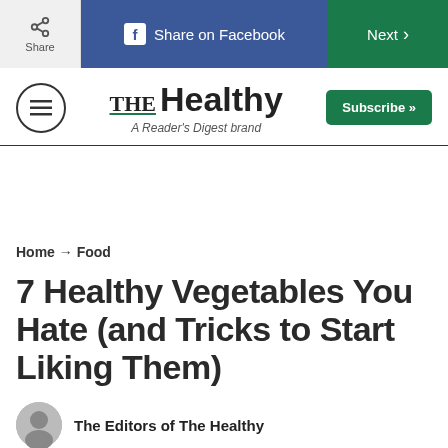Share | Share on Facebook | Next >
[Figure (logo): THE Healthy - A Reader's Digest brand logo with hamburger menu icon and Subscribe button]
Home → Food
7 Healthy Vegetables You Hate (and Tricks to Start Liking Them)
The Editors of The Healthy